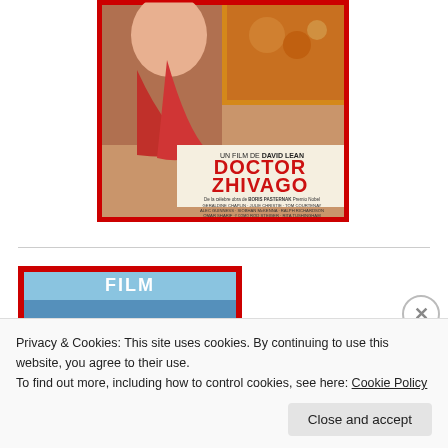[Figure (photo): Doctor Zhivago movie poster with red border. Shows 'UN FILM DE DAVID LEAN' and 'DOCTOR ZHIVAGO' in large red letters, with cast credits including Boris Pasternak, Geraldine Chaplin, Julie Christie, Tom Courtenay, Alec Guinness, Siobhan McKenna, Ralph Richardson, Omar Sharif, Rod Steiger, Rita Tushingham, music by Maurice Jarre, script by Robert Bolt.]
[Figure (photo): Second partially visible movie poster with red border, showing a blue-toned image at the top of the frame.]
Privacy & Cookies: This site uses cookies. By continuing to use this website, you agree to their use.
To find out more, including how to control cookies, see here: Cookie Policy